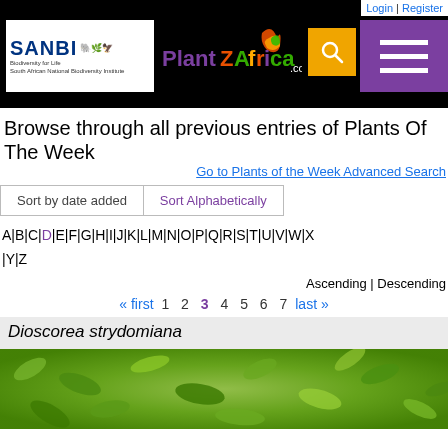Login | Register — PlantZAfrica.com — SANBI navigation header
Browse through all previous entries of Plants Of The Week
Go to Plants of the Week Advanced Search
Sort by date added | Sort Alphabetically
A | B | C | D | E | F | G | H | I | J | K | L | M | N | O | P | Q | R | S | T | U | V | W | X | Y | Z
Ascending | Descending
« first  1  2  3  4  5  6  7  last »
Dioscorea strydomiana
[Figure (photo): Green leafy plant photograph for Dioscorea strydomiana]